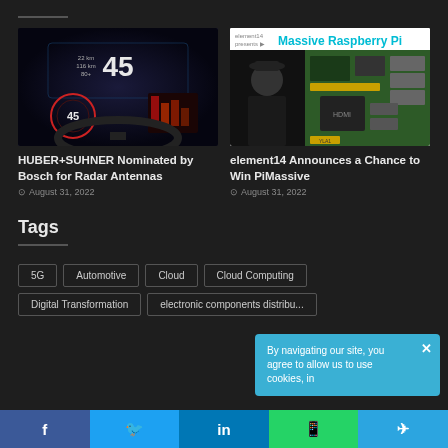[Figure (screenshot): Car dashboard display showing speed 45 with digital HUD]
HUBER+SUHNER Nominated by Bosch for Radar Antennas
August 31, 2022
[Figure (screenshot): element14 presents Massive Raspberry Pi video thumbnail with person and Raspberry Pi board]
element14 Announces a Chance to Win PiMassive
August 31, 2022
Tags
5G
Automotive
Cloud
Cloud Computing
Digital Transformation
electronic components distribu...
By navigating our site, you agree to allow us to use cookies, in